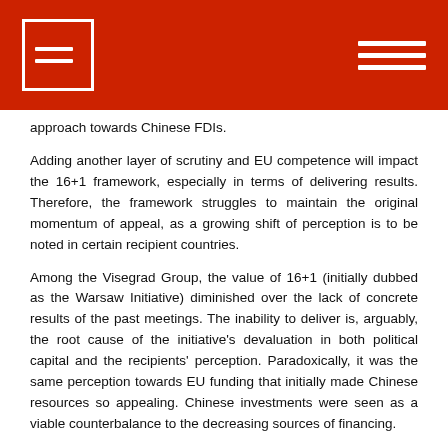approach towards Chinese FDIs.
Adding another layer of scrutiny and EU competence will impact the 16+1 framework, especially in terms of delivering results. Therefore, the framework struggles to maintain the original momentum of appeal, as a growing shift of perception is to be noted in certain recipient countries.
Among the Visegrad Group, the value of 16+1 (initially dubbed as the Warsaw Initiative) diminished over the lack of concrete results of the past meetings. The inability to deliver is, arguably, the root cause of the initiative's devaluation in both political capital and the recipients' perception. Paradoxically, it was the same perception towards EU funding that initially made Chinese resources so appealing. Chinese investments were seen as a viable counterbalance to the decreasing sources of financing.
However, since its kick-off in 2012, 16+1 generated a trade imbalance